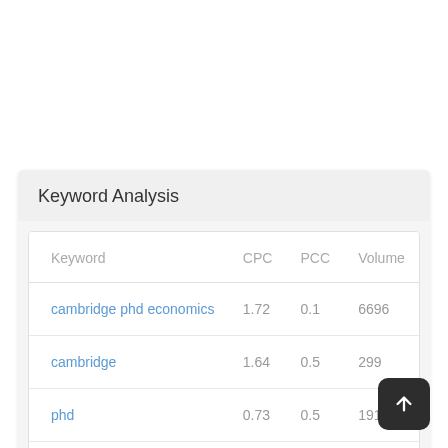Keyword Analysis
| Keyword | CPC | PCC | Volume |
| --- | --- | --- | --- |
| cambridge phd economics | 1.72 | 0.1 | 6696 |
| cambridge | 1.64 | 0.5 | 299 |
| phd | 0.73 | 0.5 | 1913 |
| economics | 0.38 | 0.8 | 8776 |